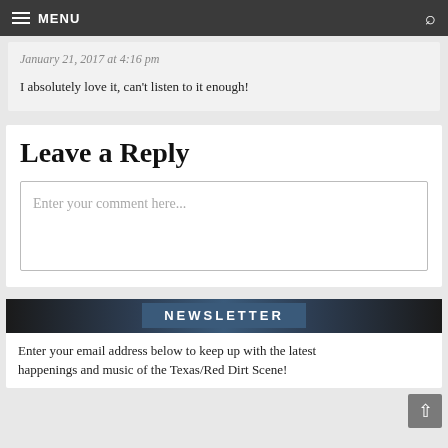MENU
January 21, 2017 at 4:16 pm
I absolutely love it, can't listen to it enough!
Leave a Reply
Enter your comment here...
NEWSLETTER
Enter your email address below to keep up with the latest happenings and music of the Texas/Red Dirt Scene!